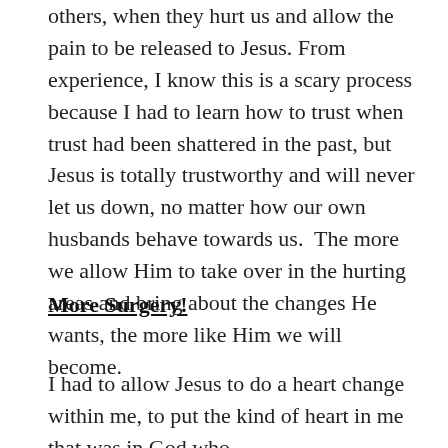others, when they hurt us and allow the pain to be released to Jesus. From experience, I know this is a scary process because I had to learn how to trust when trust had been shattered in the past, but Jesus is totally trustworthy and will never let us down, no matter how our own husbands behave towards us.  The more we allow Him to take over in the hurting areas and bring about the changes He wants, the more like Him we will become.
More Surgery!
I had to allow Jesus to do a heart change within me, to put the kind of heart in me that was in God who